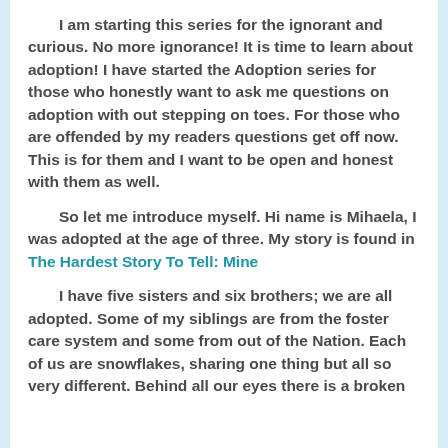I am starting this series for the ignorant and curious. No more ignorance! It is time to learn about adoption! I have started the Adoption series for those who honestly want to ask me questions on adoption with out stepping on toes. For those who are offended by my readers questions get off now. This is for them and I want to be open and honest with them as well.
So let me introduce myself. Hi name is Mihaela, I was adopted at the age of three. My story is found in The Hardest Story To Tell: Mine
I have five sisters and six brothers; we are all adopted. Some of my siblings are from the foster care system and some from out of the Nation. Each of us are snowflakes, sharing one thing but all so very different. Behind all our eyes there is a broken